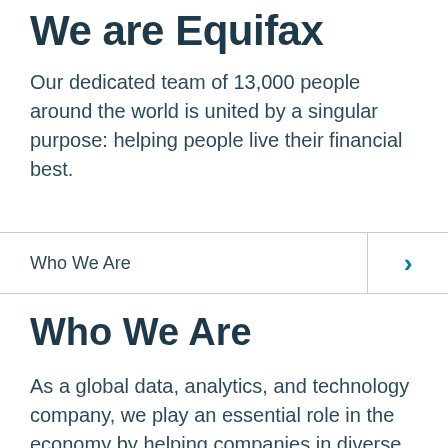We are Equifax
Our dedicated team of 13,000 people around the world is united by a singular purpose: helping people live their financial best.
Who We Are
Who We Are
As a global data, analytics, and technology company, we play an essential role in the economy by helping companies in diverse